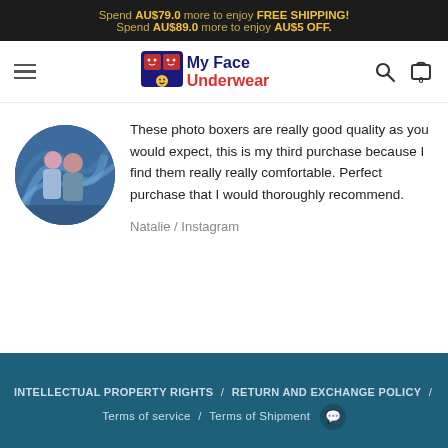Spend AU$79.0 more to enjoy FREE SHIPPING! Spend AU$89.0 more to enjoy AU$5 OFF.
[Figure (logo): My Face Underwear logo with icon and text]
[Figure (photo): Circular profile photo of a couple]
These photo boxers are really good quality as you would expect, this is my third purchase because I find them really really comfortable. Perfect purchase that I would thoroughly recommend.
Natalie / Instagram
INTELLECTUAL PROPERTY RIGHTS / RETURN AND EXCHANGE POLICY / Terms of service / Terms of Shipment